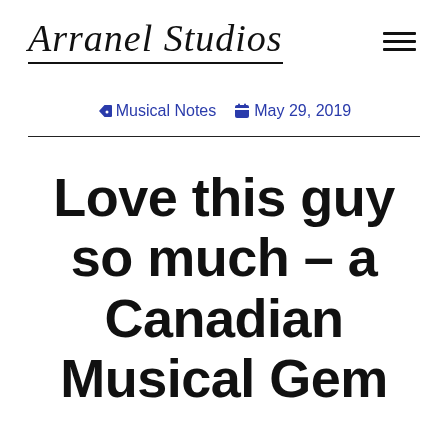Arranel Studios
Musical Notes  May 29, 2019
Love this guy so much – a Canadian Musical Gem